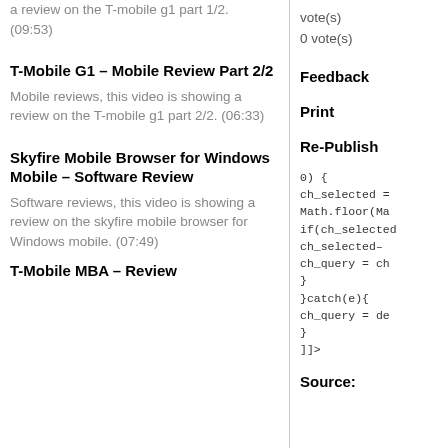a review on the T-mobile g1 part 1/2. (09:53)
T-Mobile G1 – Mobile Review Part 2/2
Mobile reviews, this video is showing a review on the T-mobile g1 part 2/2. (06:33)
Skyfire Mobile Browser for Windows Mobile – Software Review
Software reviews, this video is showing a review on the skyfire mobile browser for Windows mobile. (07:49)
T-Mobile MBA – Review
vote(s)
0 vote(s)
Feedback
Print
Re-Publish
0) {
ch_selected =
Math.floor(Ma
if(ch_selected
ch_selected–
ch_query = ch
}
}catch(e){
ch_query = de
}
]]>
Source: